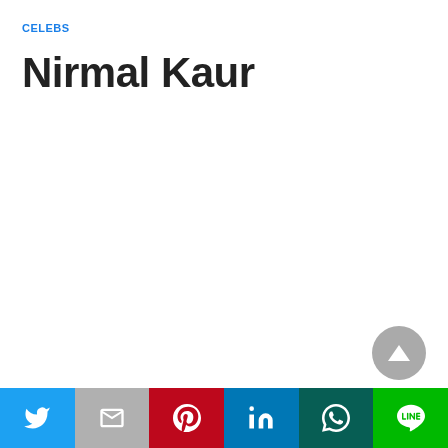CELEBS
Nirmal Kaur
[Figure (other): Scroll-to-top button: circular grey button with upward-pointing triangle arrow]
Social share bar: Twitter, Gmail, Pinterest, LinkedIn, WhatsApp, LINE